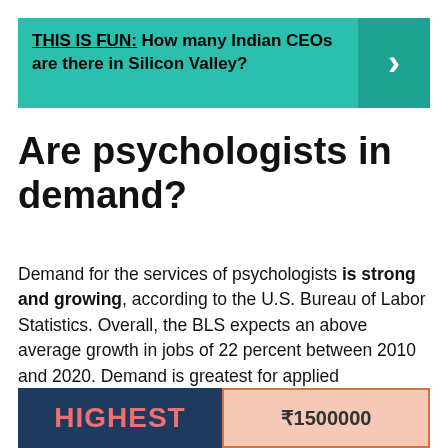THIS IS FUN: How many Indian CEOs are there in Silicon Valley?
Are psychologists in demand?
Demand for the services of psychologists is strong and growing, according to the U.S. Bureau of Labor Statistics. Overall, the BLS expects an above average growth in jobs of 22 percent between 2010 and 2020. Demand is greatest for applied psychologists.
[Figure (infographic): Bottom infographic panel showing 'HIGHEST' text on dark blue background and '₹1500000' on salmon/pink background]